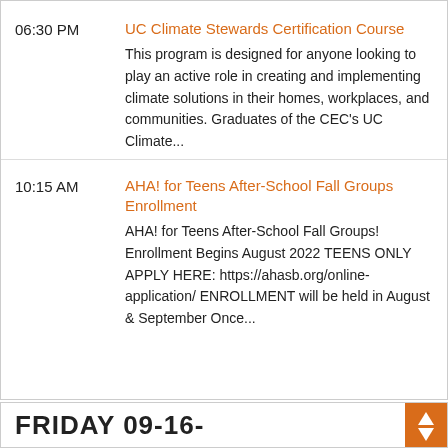06:30 PM
UC Climate Stewards Certification Course
This program is designed for anyone looking to play an active role in creating and implementing climate solutions in their homes, workplaces, and communities. Graduates of the CEC's UC Climate...
10:15 AM
AHA! for Teens After-School Fall Groups Enrollment
AHA! for Teens After-School Fall Groups! Enrollment Begins August 2022 TEENS ONLY APPLY HERE: https://ahasb.org/online-application/ ENROLLMENT will be held in August & September Once...
FRIDAY 09-16-